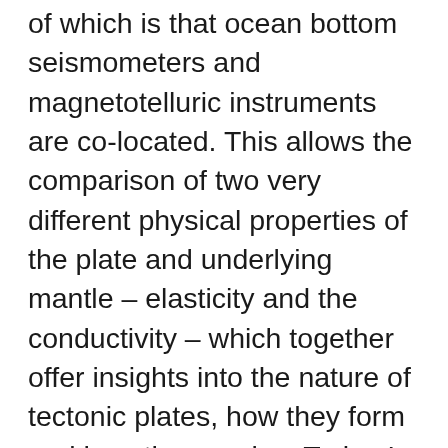of which is that ocean bottom seismometers and magnetotelluric instruments are co-located. This allows the comparison of two very different physical properties of the plate and underlying mantle – elasticity and the conductivity – which together offer insights into the nature of tectonic plates, how they form and how they evolve. Today I talked with Jake, Chris and Dan (L to R) who have come to recover the magnetotelluric instruments. Jake and Chris are the research technicians from Scripps. Dan recently left a postdoctoral research position at Scripps for a position at IGNS in his home country New Zealand. This cool-headed group ensures that the instruments are working well, but also offers life-supporting coffee every morning. This group is the brain-child of Steve Constable at Scripps.